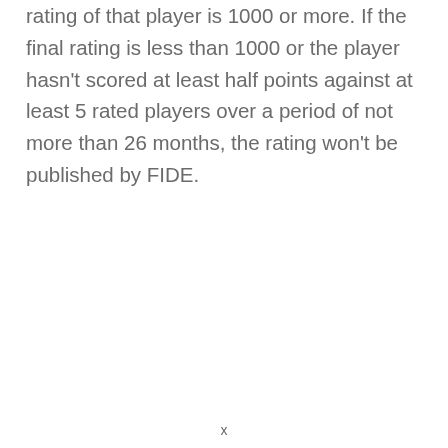rating of that player is 1000 or more. If the final rating is less than 1000 or the player hasn't scored at least half points against at least 5 rated players over a period of not more than 26 months, the rating won't be published by FIDE.
x